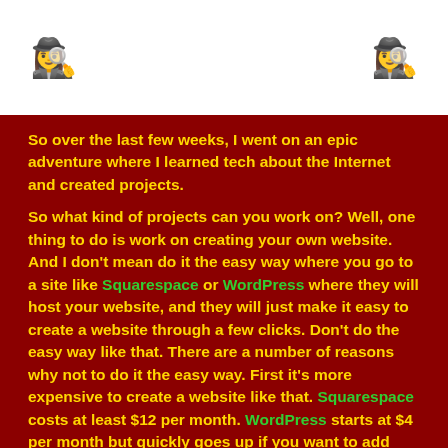[emoji icon left] [emoji icon right]
So over the last few weeks, I went on an epic adventure where I learned tech about the Internet and created projects.

So what kind of projects can you work on? Well, one thing to do is work on creating your own website. And I don't mean do it the easy way where you go to a site like Squarespace or WordPress where they will host your website, and they will just make it easy to create a website through a few clicks. Don't do the easy way like that. There are a number of reasons why not to do it the easy way. First it's more expensive to create a website like that. Squarespace costs at least $12 per month. WordPress starts at $4 per month but quickly goes up if you want to add stuff to help your website.